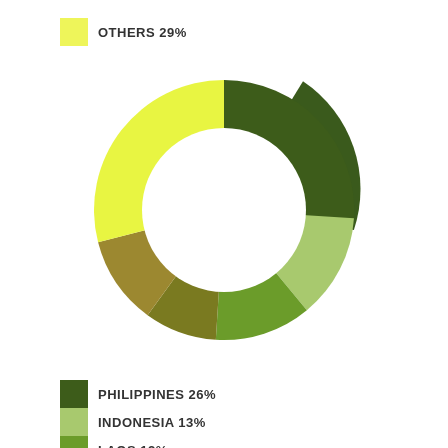[Figure (donut-chart): ]
OTHERS 29%
PHILIPPINES 26%
INDONESIA 13%
LAOS 12%